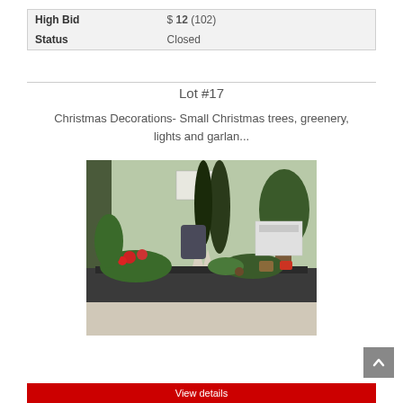|  |  |
| --- | --- |
| High Bid | $ 12 (102) |
| Status | Closed |
Lot #17
Christmas Decorations- Small Christmas trees, greenery, lights and garlan...
[Figure (photo): Photo of Christmas decorations including small artificial trees, greenery arrangements, flowers, and garland spread on a table in an office setting with a printer visible in the background.]
View details